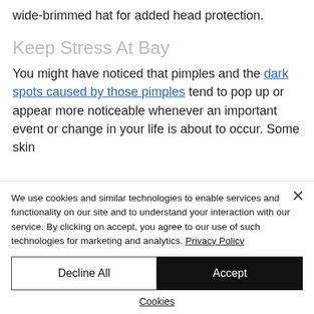wide-brimmed hat for added head protection.
Keep Stress At Bay
You might have noticed that pimples and the dark spots caused by those pimples tend to pop up or appear more noticeable whenever an important event or change in your life is about to occur. Some skin
We use cookies and similar technologies to enable services and functionality on our site and to understand your interaction with our service. By clicking on accept, you agree to our use of such technologies for marketing and analytics. Privacy Policy
Decline All
Accept
Cookies